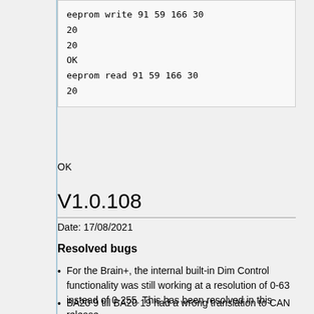eeprom write 91 59 166 30
20
20
OK
eeprom read 91 59 166 30
20
OK
V1.0.108
Date: 17/08/2021
Resolved bugs
For the Brain+, the internal built-in Dim Control functionality was still working at a resolution of 0-63 instead of 0-255. This has been resolved in this release.
BA20 9 till BA20 19 had a wrong translation to CAN bus message